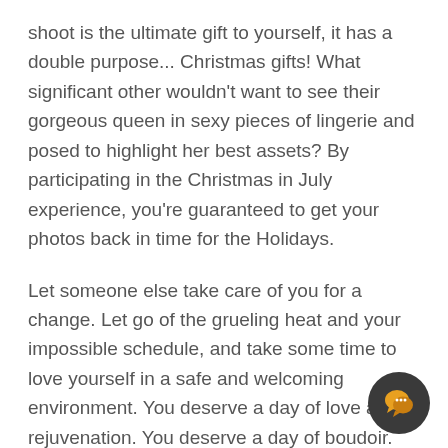shoot is the ultimate gift to yourself, it has a double purpose... Christmas gifts! What significant other wouldn't want to see their gorgeous queen in sexy pieces of lingerie and posed to highlight her best assets? By participating in the Christmas in July experience, you're guaranteed to get your photos back in time for the Holidays.
Let someone else take care of you for a change. Let go of the grueling heat and your impossible schedule, and take some time to love yourself in a safe and welcoming environment. You deserve a day of love and rejuvenation. You deserve a day of boudoir. So what are you waiting for? Click the button below to
[Figure (other): Dark circular chat button icon with yellow speech bubble icon]